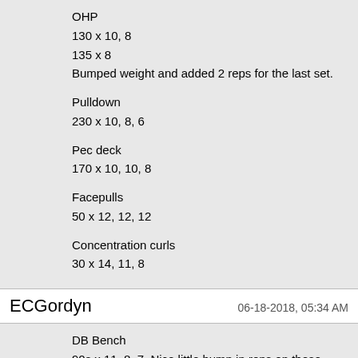OHP
130 x 10, 8
135 x 8
Bumped weight and added 2 reps for the last set.
Pulldown
230 x 10, 8, 6
Pec deck
170 x 10, 10, 8
Facepulls
50 x 12, 12, 12
Concentration curls
30 x 14, 11, 8
ECGordyn    06-18-2018, 05:34 AM
DB Bench
90s x 11, 8, 7. Nice little bump in reps on these.
80s x 8
Pendlay
220 x 10, 8, 8. Form gets sloppy as I go up in weight,